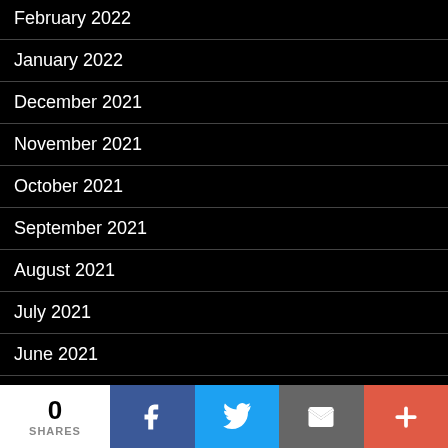February 2022
January 2022
December 2021
November 2021
October 2021
September 2021
August 2021
July 2021
June 2021
May 2021
April 2021
March 2021
0 SHARES | Facebook | Twitter | Email | More